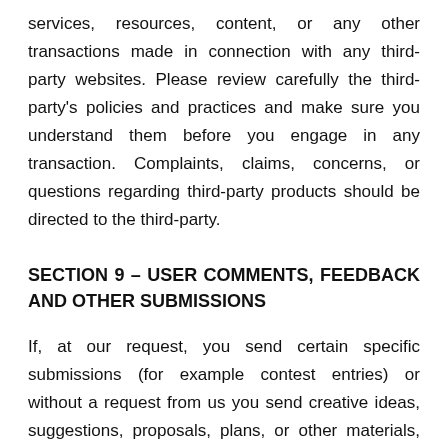services, resources, content, or any other transactions made in connection with any third-party websites. Please review carefully the third-party's policies and practices and make sure you understand them before you engage in any transaction. Complaints, claims, concerns, or questions regarding third-party products should be directed to the third-party.
SECTION 9 – USER COMMENTS, FEEDBACK AND OTHER SUBMISSIONS
If, at our request, you send certain specific submissions (for example contest entries) or without a request from us you send creative ideas, suggestions, proposals, plans, or other materials, whether online, by email, by postal